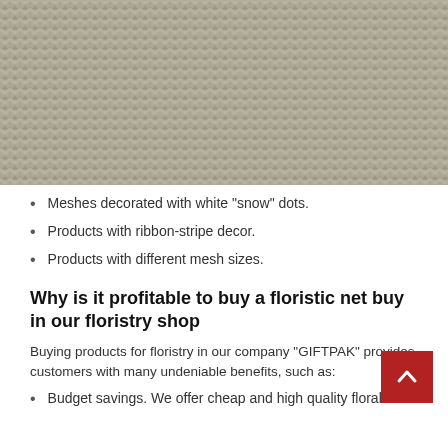[Figure (photo): Close-up photo of a gray/beige woven mesh fabric texture]
Meshes decorated with white “snow” dots.
Products with ribbon-stripe decor.
Products with different mesh sizes.
Why is it profitable to buy a floristic net buy in our floristry shop
Buying products for floristry in our company “GIFTPAK” provides customers with many undeniable benefits, such as:
Budget savings. We offer cheap and high quality floral